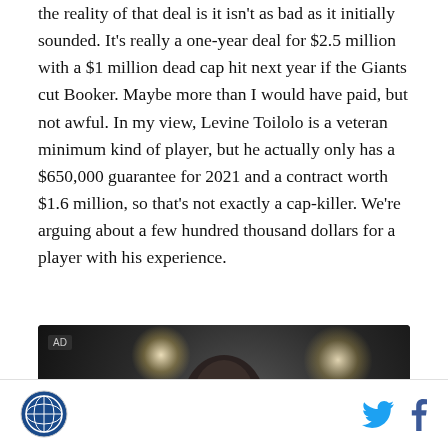the reality of that deal is it isn't as bad as it initially sounded. It's really a one-year deal for $2.5 million with a $1 million dead cap hit next year if the Giants cut Booker. Maybe more than I would have paid, but not awful. In my view, Levine Toilolo is a veteran minimum kind of player, but he actually only has a $650,000 guarantee for 2021 and a contract worth $1.6 million, so that's not exactly a cap-killer. We're arguing about a few hundred thousand dollars for a player with his experience.
[Figure (photo): Advertisement image showing a man (athlete/musician) holding a yellow circular object (possibly a trophy or instrument), photographed against a dark dramatic background with spotlights]
Site logo | Twitter icon | Facebook icon